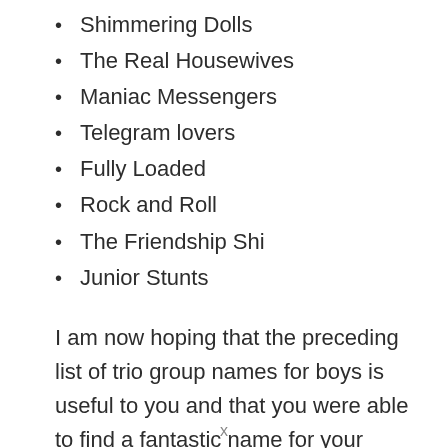Shimmering Dolls
The Real Housewives
Maniac Messengers
Telegram lovers
Fully Loaded
Rock and Roll
The Friendship Shi
Junior Stunts
I am now hoping that the preceding list of trio group names for boys is useful to you and that you were able to find a fantastic name for your group. Also, hopefully, the name you’ve chosen for the group becomes well-known at your school or institution. If the above list does not assist you,
x